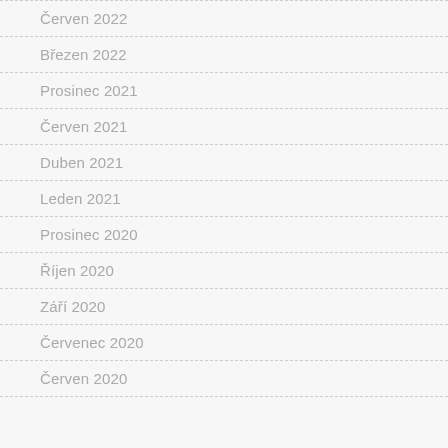Červen 2022
Březen 2022
Prosinec 2021
Červen 2021
Duben 2021
Leden 2021
Prosinec 2020
Říjen 2020
Září 2020
Červenec 2020
Červen 2020